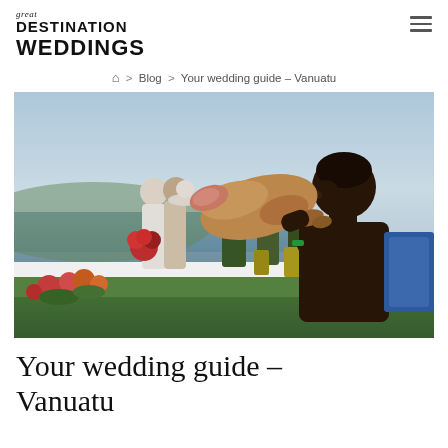great DESTINATION WEDDINGS
🏠 > Blog > Your wedding guide – Vanuatu
[Figure (photo): A shirtless man blowing a large conch shell at a wedding ceremony outdoors by the seaside in Vanuatu, with a couple kissing in the background surrounded by guests in green attire and colorful tropical flowers.]
Your wedding guide – Vanuatu